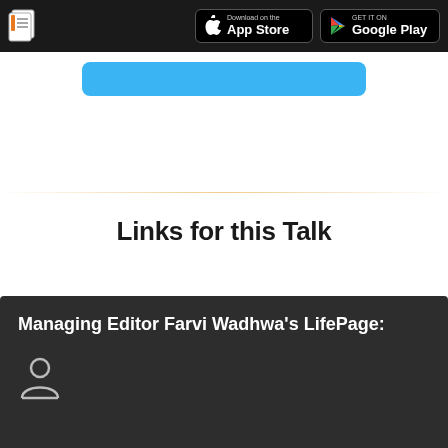App Store | Google Play
[Figure (screenshot): Blue button partially visible below nav bar]
Links for this Talk
Managing Editor Farvi Wadhwa's LifePage:
[Figure (illustration): Person/user icon at bottom of dark card]